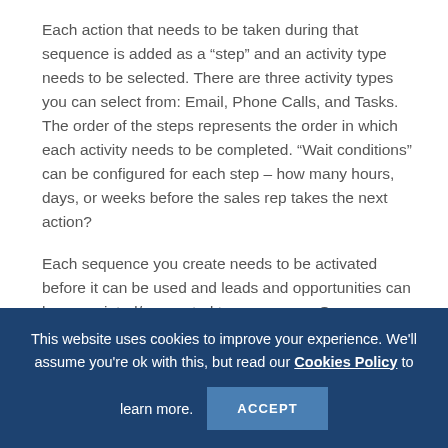Each action that needs to be taken during that sequence is added as a “step” and an activity type needs to be selected. There are three activity types you can select from: Email, Phone Calls, and Tasks. The order of the steps represents the order in which each activity needs to be completed. “Wait conditions” can be configured for each step – how many hours, days, or weeks before the sales rep takes the next action?
Each sequence you create needs to be activated before it can be used and leads and opportunities can be associated/connected to sequences. Once
This website uses cookies to improve your experience. We’ll assume you’re ok with this, but read our Cookies Policy to learn more.